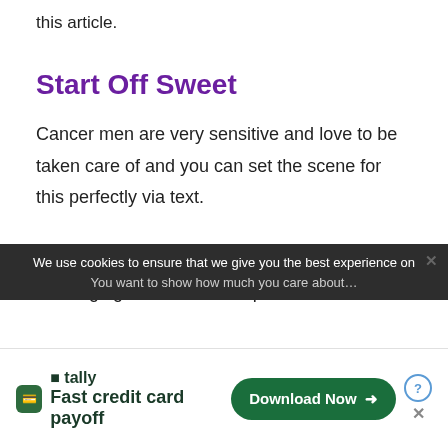this article.
Start Off Sweet
Cancer men are very sensitive and love to be taken care of and you can set the scene for this perfectly via text.
This means that you should start your messaging off as sweet as possible.
We use cookies to ensure that we give you the best experience on
You want to show how much you care about…
[Figure (screenshot): Tally app advertisement banner: logo with green icon and 'tally / Fast credit card payoff' text on the left, and a dark green 'Download Now →' button on the right, with close/help buttons in top-right corner.]